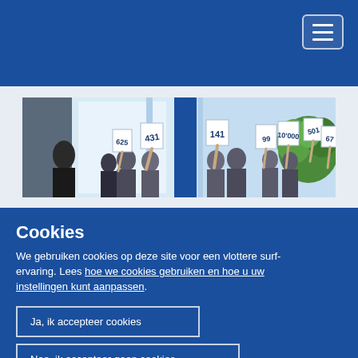[Figure (photo): Auction scene: people in business attire holding up numbered bidding paddles in a bright conference room with a plant in the background]
Cookies
We gebruiken cookies op deze site voor een vlottere surfervaring. Lees hoe we cookies gebruiken en hoe u uw instellingen kunt aanpassen.
Ja, ik accepteer cookies
Nee, ik accepteer geen cookies